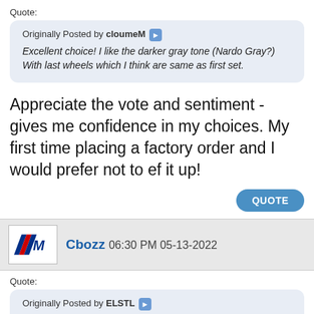Quote:
Originally Posted by cloumeM
Excellent choice! I like the darker gray tone (Nardo Gray?) With last wheels which I think are same as first set.
Appreciate the vote and sentiment - gives me confidence in my choices. My first time placing a factory order and I would prefer not to ef it up!
QUOTE
Cbozz 06:30 PM 05-13-2022
Quote:
Originally Posted by ELSTL
Headed to Autohaus tomorrow to order a new daily! Settled on the x3 m40i - most likely in brooklyn gray over tacora red guts with the 718m wheels. But Alpine